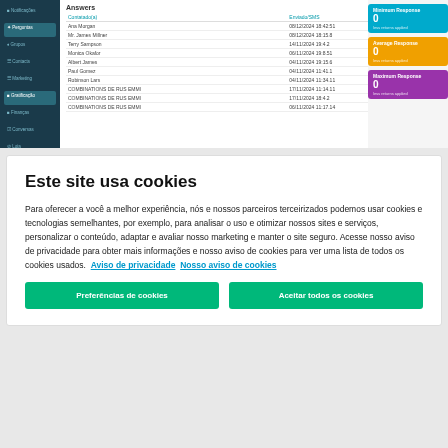[Figure (screenshot): Screenshot of a web application showing an Answers table with sidebar navigation and statistics panels (Minimum Response: 0, Average Response: 0, Maximum Response: 0)]
Este site usa cookies
Para oferecer a você a melhor experiência, nós e nossos parceiros terceirizados podemos usar cookies e tecnologias semelhantes, por exemplo, para analisar o uso e otimizar nossos sites e serviços, personalizar o conteúdo, adaptar e avaliar nosso marketing e manter o site seguro. Acesse nosso aviso de privacidade para obter mais informações e nosso aviso de cookies para ver uma lista de todos os cookies usados.  Aviso de privacidade  Nosso aviso de cookies
Preferências de cookies
Aceitar todos os cookies